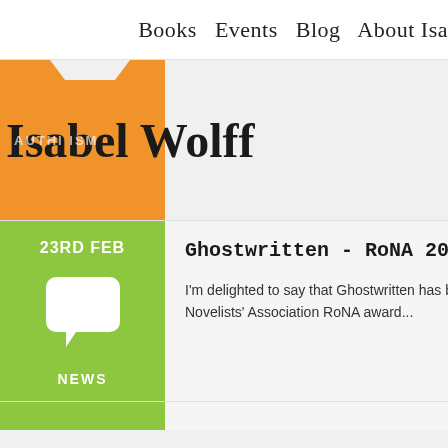Books  Events  Blog  About Isa
Isabel Wolff
23RD FEB
[Figure (illustration): White speech bubble / chat icon on green background]
NEWS
Ghostwritten - RoNA 2015 a
I'm delighted to say that Ghostwritten has been Novelists' Association RoNA award...